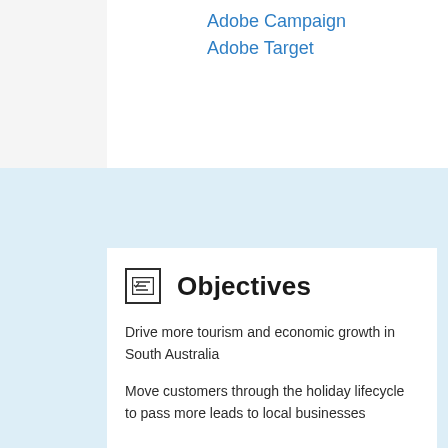Adobe Campaign
Adobe Target
Objectives
Drive more tourism and economic growth in South Australia
Move customers through the holiday lifecycle to pass more leads to local businesses